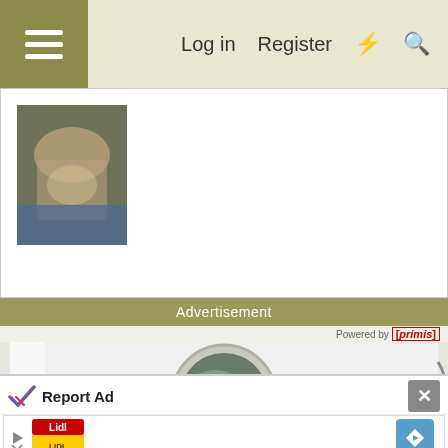Log in  Register
[Figure (screenshot): Web forum page screenshot showing navigation bar with hamburger menu, Log in, Register links, and user content area with a thumbnail image of a hand holding something.]
Advertisement
[Figure (screenshot): Video player showing washing machine with clothes tumbling inside, powered by primis. Play button visible in center.]
Powered by [primis]
Report Ad
[Figure (screenshot): Advertisement banner showing Lidl logo and navigation arrow icon with skip/close controls.]